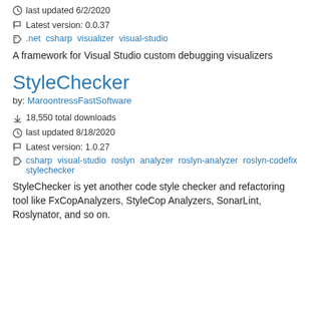last updated 6/2/2020
Latest version: 0.0.37
.net csharp visualizer visual-studio
A framework for Visual Studio custom debugging visualizers
StyleChecker
by: MaroontressFastSoftware
18,550 total downloads
last updated 8/18/2020
Latest version: 1.0.27
csharp visual-studio roslyn analyzer roslyn-analyzer roslyn-codefix stylechecker
StyleChecker is yet another code style checker and refactoring tool like FxCopAnalyzers, StyleCop Analyzers, SonarLint, Roslynator, and so on.